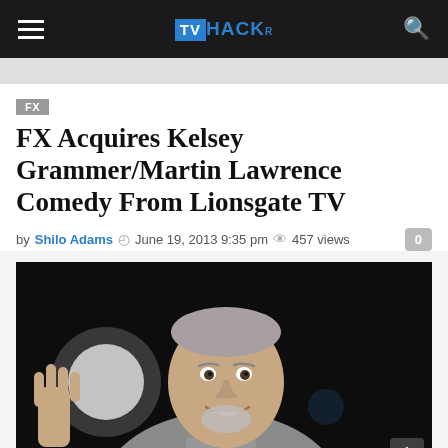TVHACKr
FX
FX Acquires Kelsey Grammer/Martin Lawrence Comedy From Lionsgate TV
by Shilo Adams  June 19, 2013 9:35 pm  457 views  0
[Figure (photo): Photo of Kelsey Grammer smiling and waving, wearing a grey blazer over a plaid shirt, against a dark background with a bokeh spotlight.]